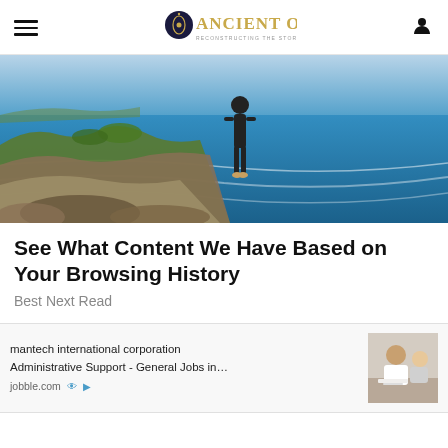Ancient Origins — Reconstructing the story of humanity's past
[Figure (photo): A person standing on rocky coastal cliffs overlooking the ocean with waves and green vegetation visible]
See What Content We Have Based on Your Browsing History
Best Next Read
mantech international corporation Administrative Support - General Jobs in… jobble.com